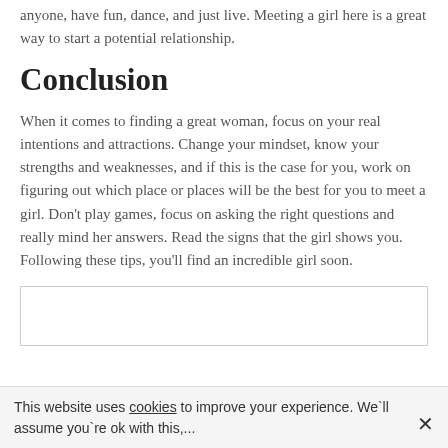anyone, have fun, dance, and just live. Meeting a girl here is a great way to start a potential relationship.
Conclusion
When it comes to finding a great woman, focus on your real intentions and attractions. Change your mindset, know your strengths and weaknesses, and if this is the case for you, work on figuring out which place or places will be the best for you to meet a girl. Don't play games, focus on asking the right questions and really mind her answers. Read the signs that the girl shows you. Following these tips, you'll find an incredible girl soon.
[Figure (other): Empty white box with border, likely an advertisement or image placeholder]
This website uses cookies to improve your experience. We`ll assume you`re ok with this,...